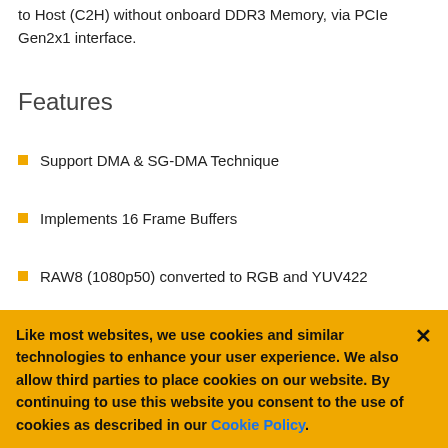to Host (C2H) without onboard DDR3 Memory, via PCIe Gen2x1 interface.
Features
Support DMA & SG-DMA Technique
Implements 16 Frame Buffers
RAW8 (1080p50) converted to RGB and YUV422
[Figure (logo): Lattice Semiconductor logo with robot/automation graphic and large stylized text beginning with 'A']
Like most websites, we use cookies and similar technologies to enhance your user experience. We also allow third parties to place cookies on our website. By continuing to use this website you consent to the use of cookies as described in our Cookie Policy.